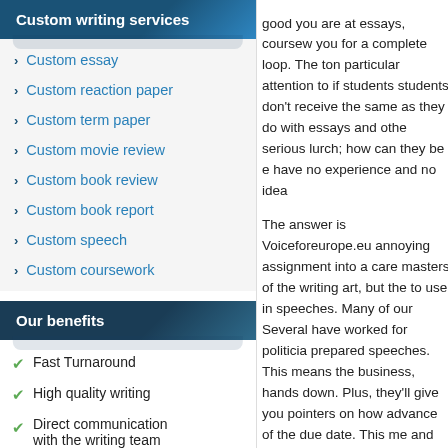Custom writing services
Custom essay
Custom reaction paper
Custom term paper
Custom movie review
Custom book review
Custom book report
Custom speech
Custom coursework
Our benefits
Fast Turnaround
High quality writing
Direct communication with the writing team
Full Time Editors for
good you are at essays, coursew you for a complete loop. The ton particular attention to if students students don't receive the same as they do with essays and othe serious lurch; how can they be e have no experience and no idea
The answer is Voiceforeurope.eu annoying assignment into a care masters of the writing art, but the to use in speeches. Many of our Several have worked for politicia prepared speeches. This means the business, hands down. Plus, they'll give you pointers on how advance of the due date. This me and you'll just be left with a clea are the friendliest, most helpful w when you're searching for speec happy with a piece of work from rarely!). By contacting our 24/7 mind at ease about that upcomin writing services have never bee